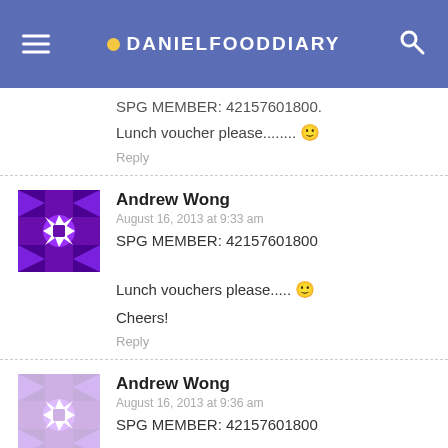DANIELFOODDIARY
SPG MEMBER: 42157601800.
Lunch voucher please........ 🙂
Reply
Andrew Wong
August 16, 2013 at 9:33 am
SPG MEMBER: 42157601800
Lunch vouchers please..... 🙂
Cheers!
Reply
Andrew Wong
August 16, 2013 at 9:36 am
SPG MEMBER: 42157601800